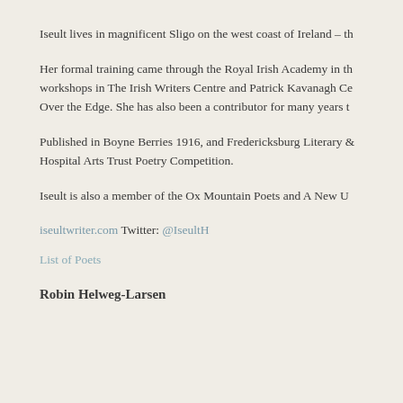Iseult lives in magnificent Sligo on the west coast of Ireland – th
Her formal training came through the Royal Irish Academy in th workshops in The Irish Writers Centre and Patrick Kavanagh Ce Over the Edge. She has also been a contributor for many years t
Published in Boyne Berries 1916, and Fredericksburg Literary & Hospital Arts Trust Poetry Competition.
Iseult is also a member of the Ox Mountain Poets and A New U
iseultwriter.com Twitter: @IseultH
List of Poets
Robin Helweg-Larsen